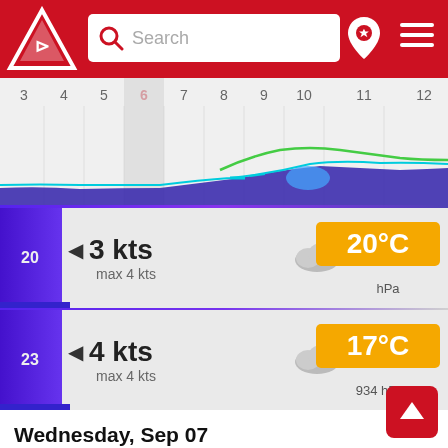[Figure (screenshot): Red navigation header bar with logo, search box, pin icon, and hamburger menu]
[Figure (line-chart): Weather timeline chart showing wind and wave data for days 3-12, with blue baseline and green/cyan lines]
20  ◄ 3 kts  max 4 kts  [cloud icon]  20°C  934 hPa
23  ◄ 4 kts  max 4 kts  [cloud icon]  17°C  934 hPa
Wednesday, Sep 07
Wind   Weather
02  ◄ 4 kts  max 4 kts  [partly cloudy night icon]  16°C  933 hPa
05  ◄ 4 kts  [cloud icon]  15°C